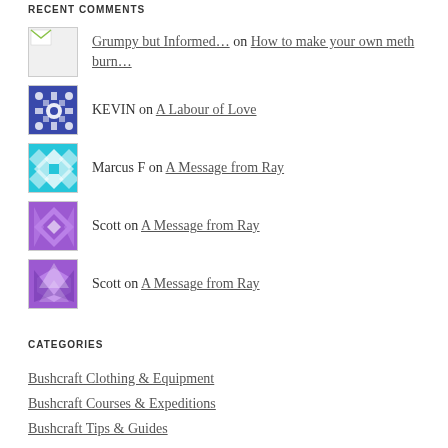RECENT COMMENTS
Grumpy but Informed… on How to make your own meth burn…
KEVIN on A Labour of Love
Marcus F on A Message from Ray
Scott on A Message from Ray
Scott on A Message from Ray
CATEGORIES
Bushcraft Clothing & Equipment
Bushcraft Courses & Expeditions
Bushcraft Tips & Guides